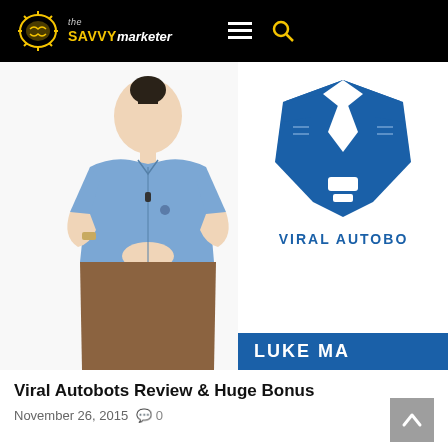the SAVVY marketer
[Figure (screenshot): Video thumbnail showing a man in a blue shirt on the left and the Viral Autobots logo on the right with 'LUKE MA...' text box at the bottom right]
Viral Autobots Review & Huge Bonus
November 26, 2015  💬 0